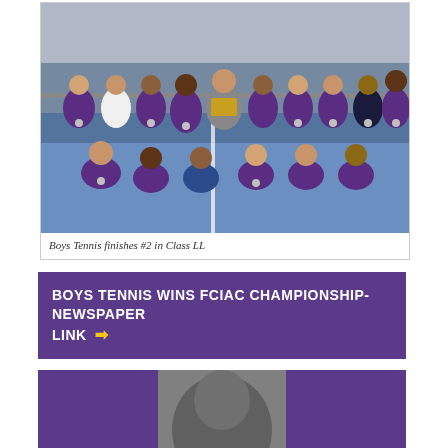[Figure (photo): Group photo of boys tennis team indoors on a blue tennis court, wearing purple uniforms and medals, holding a trophy plaque. Caption below reads 'Boys Tennis finishes #2 in Class LL'.]
Boys Tennis finishes #2 in Class LL
BOYS TENNIS WINS FCIAC CHAMPIONSHIP-NEWSPAPER LINK ➡
[Figure (photo): Partial photo visible at bottom of page, appears to show a person, with purple background on sides.]